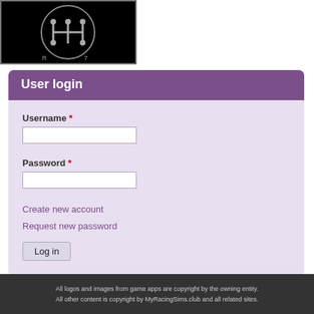[Figure (logo): Black background with a circular gear-shift/logo emblem in grey, showing 'RH7' style gear pattern]
User login
Username *
Password *
Create new account
Request new password
Log in
All logos and images from game apps are copyright by the owning entity. All other content is copyright by MyRacingSims.club and all related sites.